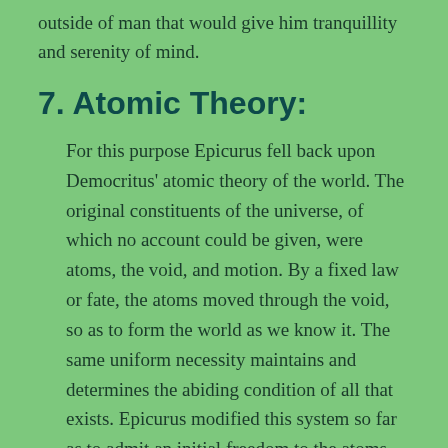outside of man that would give him tranquillity and serenity of mind.
7. Atomic Theory:
For this purpose Epicurus fell back upon Democritus' atomic theory of the world. The original constituents of the universe, of which no account could be given, were atoms, the void, and motion. By a fixed law or fate, the atoms moved through the void, so as to form the world as we know it. The same uniform necessity maintains and determines the abiding condition of all that exists. Epicurus modified this system so far as to admit an initial freedom to the atoms, which enabled them to divert slightly from their uniform straight course as they fell like rain through space, and so to impinge, combine and set up rotatory motions by which the